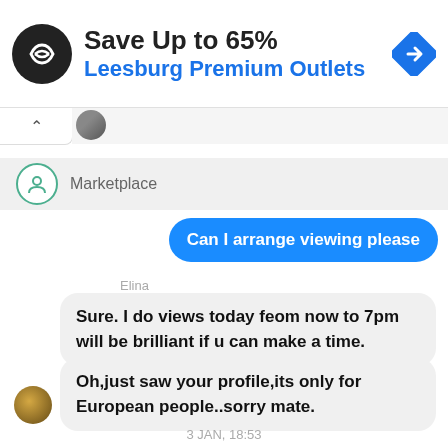[Figure (screenshot): Advertisement banner: black circular logo with infinity/chain link symbol, text 'Save Up to 65%' in bold black, 'Leesburg Premium Outlets' in blue, blue diamond arrow icon on right. Play and X controls on left side below banner.]
[Figure (screenshot): Facebook Messenger chat screenshot showing: Marketplace header row with teal store icon, a sent blue bubble message 'Can I arrange viewing please', received messages from 'Elina' saying 'Sure. I do views today feom now to 7pm will be brilliant if u can make a time.' and 'Oh,just saw your profile,its only for European people..sorry mate.' Timestamp: 3 JAN, 18:53]
Can I arrange viewing please
Sure. I do views today feom now to 7pm will be brilliant if u can make a time.
Oh,just saw your profile,its only for European people..sorry mate.
3 JAN, 18:53